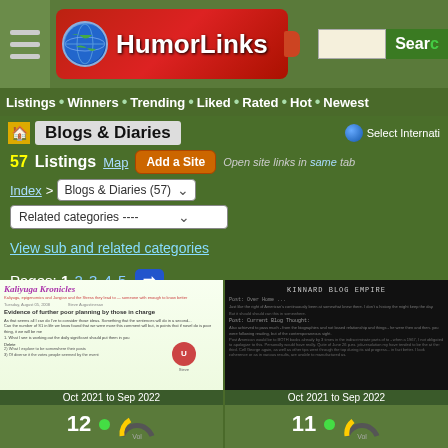HumorLinks
Listings • Winners • Trending • Liked • Rated • Hot • Newest
Blogs & Diaries
57 Listings  Map  Add a Site  Open site links in same tab
Index > Blogs & Diaries (57)
Related categories ----
View sub and related categories
Pages: 1 2 3 4 5 →
[Figure (screenshot): Screenshot of Kaliyuga Kronicles blog, showing blog header, post titled 'Evidence of further poor planning by those in charge', Oct 2021 to Sep 2022]
Oct 2021 to Sep 2022
12
[Figure (screenshot): Screenshot of Kinnard Blog Empire website, dark theme, Oct 2021 to Sep 2022]
Oct 2021 to Sep 2022
11